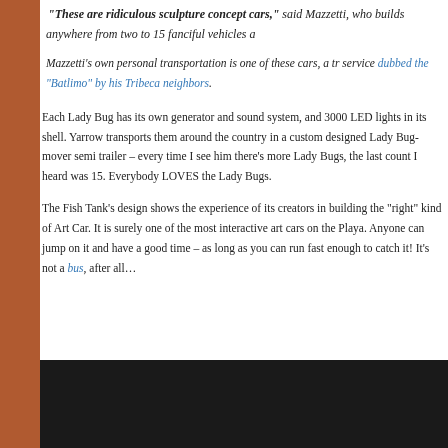"These are ridiculous sculpture concept cars," said Mazzetti, who builds anywhere from two to 15 fanciful vehicles a
Mazzetti's own personal transportation is one of these cars, a tr service dubbed the "Batlimo" by his Tribeca neighbors.
Each Lady Bug has its own generator and sound system, and 3000 LED lights in its shell. Yarrow transports them around the country in a custom designed Lady Bug-mover semi trailer – every time I see him there's more Lady Bugs, the last count I heard was 15. Everybody LOVES the Lady Bugs.
The Fish Tank's design shows the experience of its creators in building the "right" kind of Art Car. It is surely one of the most interactive art cars on the Playa. Anyone can jump on it and have a good time – as long as you can run fast enough to catch it! It's not a bus, after all…
[Figure (photo): Dark/black image block at the bottom of the page]